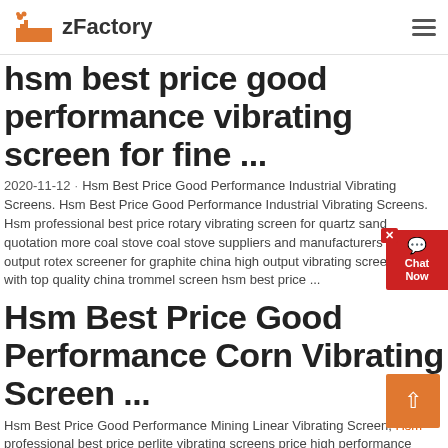zFactory
hsm best price good performance vibrating screen for fine ...
2020-11-12 · Hsm Best Price Good Performance Industrial Vibrating Screens. Hsm Best Price Good Performance Industrial Vibrating Screens. Hsm professional best price rotary vibrating screen for quartz sand quotation more coal stove coal stove suppliers and manufacturers at high output rotex screener for graphite china high output vibrating screen for sale with top quality china trommel screen hsm best price ...
Hsm Best Price Good Performance Corn Vibrating Screen ...
Hsm Best Price Good Performance Mining Linear Vibrating Screen, Hsm professional best price perlite vibrating screens price high performance